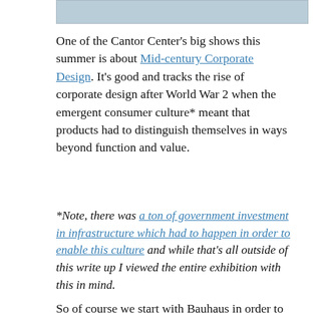[Figure (photo): Partial image visible at top of page, showing a light blue/grey color, cropped]
One of the Cantor Center's big shows this summer is about Mid-century Corporate Design. It's good and tracks the rise of corporate design after World War 2 when the emergent consumer culture* meant that products had to distinguish themselves in ways beyond function and value.
*Note, there was a ton of government investment in infrastructure which had to happen in order to enable this culture and while that's all outside of this write up I viewed the entire exhibition with this in mind.
So of course we start with Bauhaus in order to